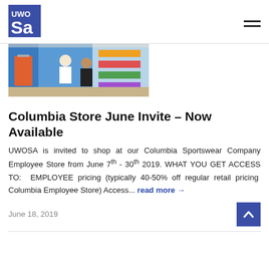UWOSA logo and navigation menu
[Figure (photo): Interior of a Columbia Sportswear store showing colorful clothing racks and shoppers]
Columbia Store June Invite – Now Available
UWOSA is invited to shop at our Columbia Sportswear Company Employee Store from June 7th - 30th 2019. WHAT YOU GET ACCESS TO:  EMPLOYEE pricing (typically 40-50% off regular retail pricing  Columbia Employee Store) Access... read more →
June 18, 2019